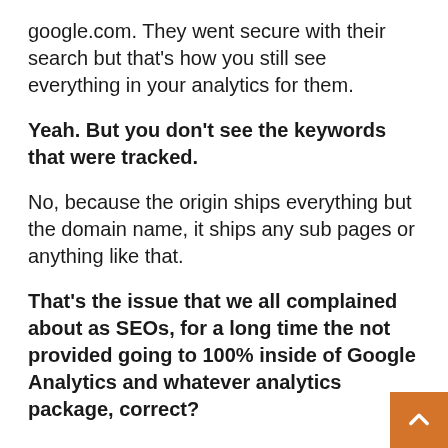google.com. They went secure with their search but that's how you still see everything in your analytics for them.
Yeah. But you don't see the keywords that were tracked.
No, because the origin ships everything but the domain name, it ships any sub pages or anything like that.
That's the issue that we all complained about as SEOs, for a long time the not provided going to 100% inside of Google Analytics and whatever analytics package, correct?